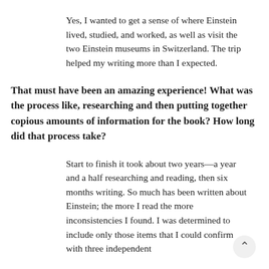Yes, I wanted to get a sense of where Einstein lived, studied, and worked, as well as visit the two Einstein museums in Switzerland. The trip helped my writing more than I expected.
That must have been an amazing experience! What was the process like, researching and then putting together copious amounts of information for the book? How long did that process take?
Start to finish it took about two years—a year and a half researching and reading, then six months writing. So much has been written about Einstein; the more I read the more inconsistencies I found. I was determined to include only those items that I could confirm with three independent